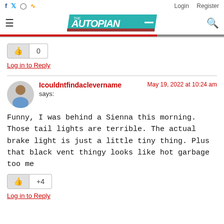The Autopian — Login Register
[Figure (logo): The Autopian website logo on teal/green background]
Like button with count 0 and Log in to Reply link
Icouldntfindaclevername says: May 19, 2022 at 10:24 am
Funny, I was behind a Sienna this morning. Those tail lights are terrible. The actual brake light is just a little tiny thing. Plus that black vent thingy looks like hot garbage too me
Like button with count +4 and Log in to Reply link